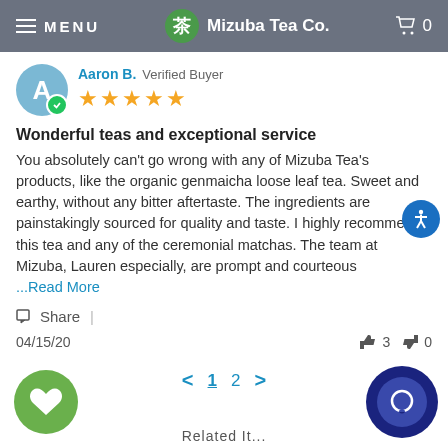MENU | Mizuba Tea Co. | 0
Aaron B.  Verified Buyer
★★★★★
Wonderful teas and exceptional service
You absolutely can't go wrong with any of Mizuba Tea's products, like the organic genmaicha loose leaf tea. Sweet and earthy, without any bitter aftertaste. The ingredients are painstakingly sourced for quality and taste. I highly recommend this tea and any of the ceremonial matchas. The team at Mizuba, Lauren especially, are prompt and courteous ...Read More
Share |
04/15/20  👍 3  👎 0
< 1 2 >
Related It...